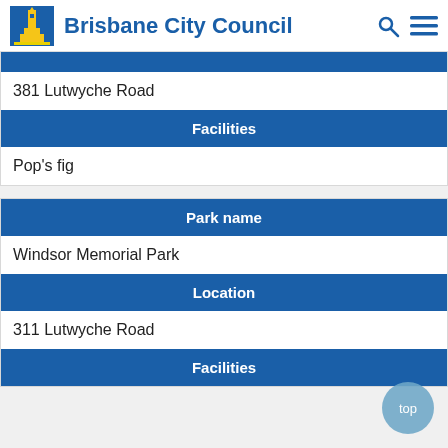Brisbane City Council
381 Lutwyche Road
Facilities
Pop's fig
Park name
Windsor Memorial Park
Location
311 Lutwyche Road
Facilities